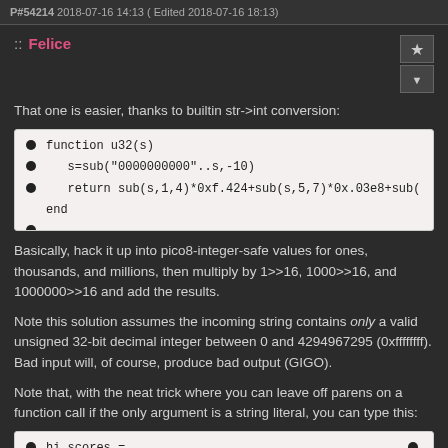P#54214 2018-07-16 14:13 ( Edited 2018-07-16 18:13)
:: Felice
That one is easier, thanks to builtin str->int conversion:
[Figure (screenshot): Code block showing a Lua function u32(s) with sub string operations]
Basically, hack it up into pico8-integer-safe values for ones, thousands, and millions, then multiply by 1>>16, 1000>>16, and 1000000>>16 and add the results.
Note this solution assumes the incoming string contains only a valid unsigned 32-bit decimal integer between 0 and 4294967295 (0xffffffff). Bad input will, of course, produce bad output (GIGO).
Note that, with the neat trick where you can leave off parens on a function call if the only argument is a string literal, you can type this:
[Figure (screenshot): Code block showing hi_scores =]